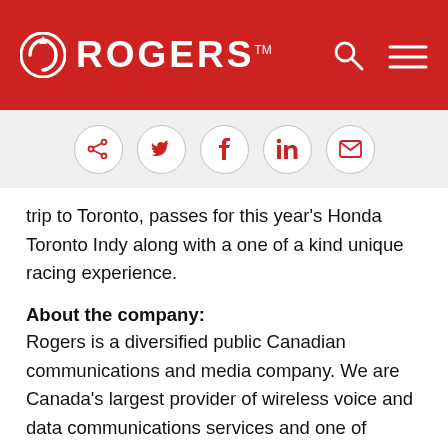ROGERS
[Figure (logo): Rogers logo with circular arrow icon and ROGERS wordmark in white on red background, with search and menu icons]
[Figure (infographic): Social sharing icons in circles: share, Twitter, Facebook, LinkedIn, email]
trip to Toronto, passes for this year's Honda Toronto Indy along with a one of a kind unique racing experience.
About the company:
Rogers is a diversified public Canadian communications and media company. We are Canada's largest provider of wireless voice and data communications services and one of Canada's leading providers of cable television, high-speed Internet and